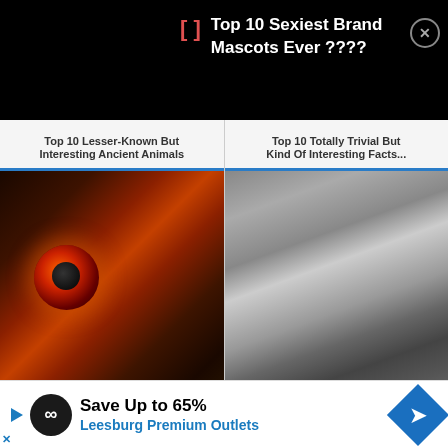Top 10 Sexiest Brand Mascots Ever ????
Top 10 Lesser-Known But Interesting Ancient Animals
Top 10 Totally Trivial But Kind Of Interesting Facts...
[Figure (photo): Close-up of a doll face with a glowing orange/red eye]
[Figure (photo): Black and white photo of a nun or hooded figure looking through binoculars]
Top 10 Things Schools
Save Up to 65%
Leesburg Premium Outlets